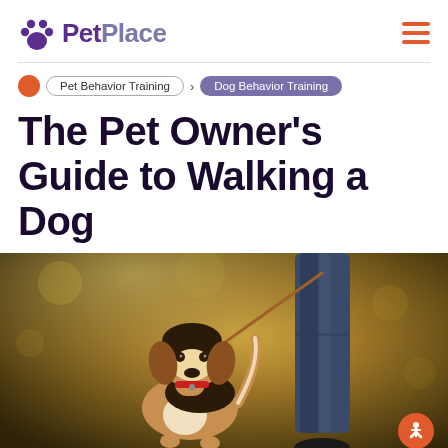PetPlace
Pet Behavior Training > Dog Behavior Training
The Pet Owner’s Guide to Walking a Dog
[Figure (photo): Photo of a beagle dog on a leash looking upward, with a person’s legs in jeans visible next to the dog, outdoors in a blurred autumn park setting.]